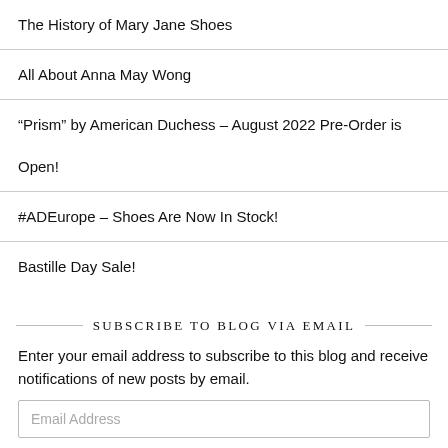The History of Mary Jane Shoes
All About Anna May Wong
“Prism” by American Duchess – August 2022 Pre-Order is Open!
#ADEurope – Shoes Are Now In Stock!
Bastille Day Sale!
SUBSCRIBE TO BLOG VIA EMAIL
Enter your email address to subscribe to this blog and receive notifications of new posts by email.
Email Address